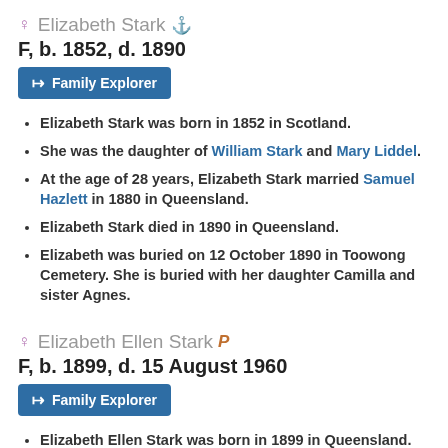♀ Elizabeth Stark ⚓
F, b. 1852, d. 1890
Family Explorer (button)
Elizabeth Stark was born in 1852 in Scotland.
She was the daughter of William Stark and Mary Liddel.
At the age of 28 years, Elizabeth Stark married Samuel Hazlett in 1880 in Queensland.
Elizabeth Stark died in 1890 in Queensland.
Elizabeth was buried on 12 October 1890 in Toowong Cemetery. She is buried with her daughter Camilla and sister Agnes.
♀ Elizabeth Ellen Stark P
F, b. 1899, d. 15 August 1960
Family Explorer (button)
Elizabeth Ellen Stark was born in 1899 in Queensland.
She was the daughter of Herman Stark and Ellen Cosntance Heath Ranger.